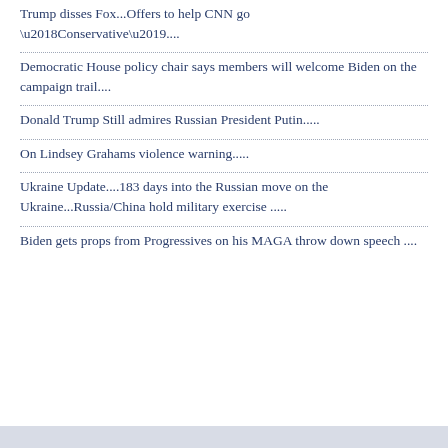Trump disses Fox...Offers to help CNN go ‘Conservative’....
Democratic House policy chair says members will welcome Biden on the campaign trail....
Donald Trump Still admires Russian President Putin.....
On Lindsey Grahams violence warning.....
Ukraine Update....183 days into the Russian move on the Ukraine...Russia/China hold military exercise .....
Biden gets props from Progressives on his MAGA throw down speech ....